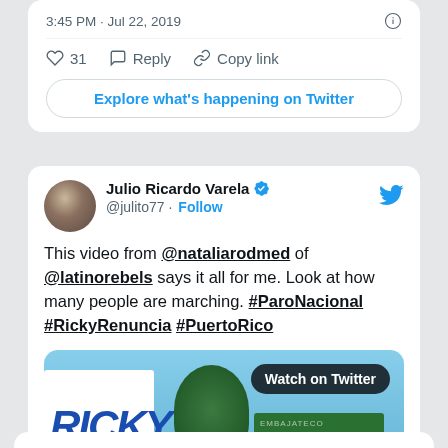3:45 PM · Jul 22, 2019
♡ 31   Reply   Copy link
Explore what's happening on Twitter
Julio Ricardo Varela @julito77 · Follow
This video from @nataliarodmed of @latinorebels says it all for me. Look at how many people are marching. #ParoNacional #RickyRenuncia #PuertoRico
[Figure (screenshot): Video thumbnail showing a street protest scene with a white sign reading 'RICKY', trees, blue sky, and a green shipping container, with a 'Watch on Twitter' badge]